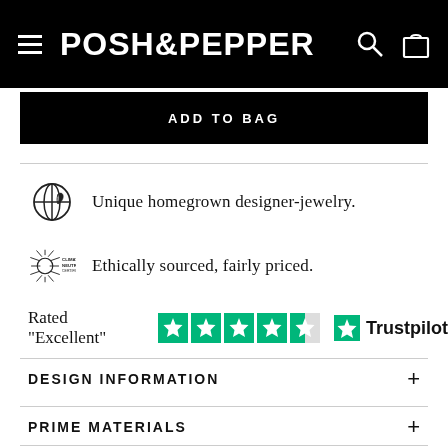POSH&PEPPER
ADD TO BAG
Unique homegrown designer-jewelry.
Ethically sourced, fairly priced.
Rated "Excellent" ★★★★½ Trustpilot
DESIGN INFORMATION
PRIME MATERIALS